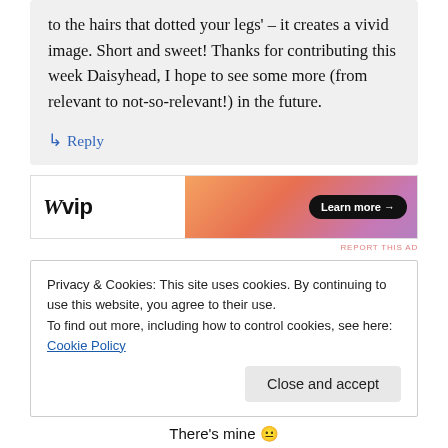to the hairs that dotted your legs' – it creates a vivid image. Short and sweet! Thanks for contributing this week Daisyhead, I hope to see some more (from relevant to not-so-relevant!) in the future.
↳ Reply
[Figure (other): WordPress VIP advertisement banner with logo on left and gradient orange-pink background with 'Learn more →' button]
REPORT THIS AD
Privacy & Cookies: This site uses cookies. By continuing to use this website, you agree to their use.
To find out more, including how to control cookies, see here: Cookie Policy
Close and accept
There's mine 😐